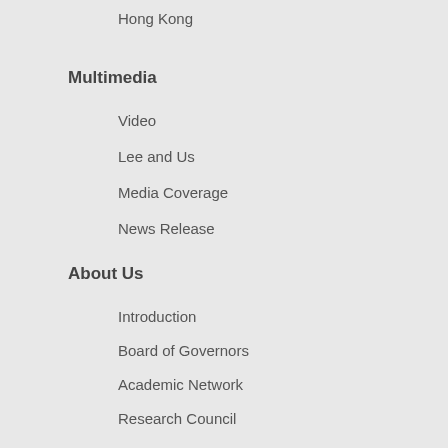Hong Kong
Multimedia
Video
Lee and Us
Media Coverage
News Release
About Us
Introduction
Board of Governors
Academic Network
Research Council
Academic Advisory Council
Special Counsellors
Advisors
Executive Management
Useful Links
Annual Report
JOIN US
Contact Information